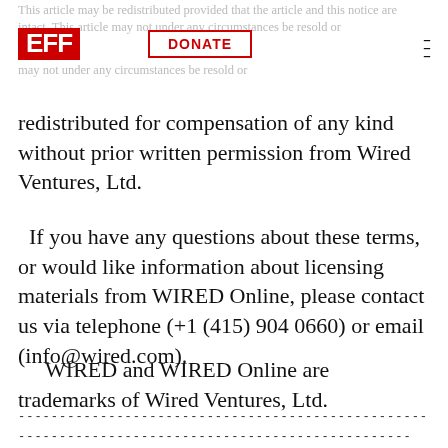This article may be redistributed provided that the article and this notice are intact. This article may not under any circumstances be resold or
[Figure (logo): EFF logo - red block letters on red background]
redistributed for compensation of any kind without prior written permission from Wired Ventures, Ltd.
If you have any questions about these terms, or would like information about licensing materials from WIRED Online, please contact us via telephone (+1 (415) 904 0660) or email (info@wired.com).
WIRED and WIRED Online are trademarks of Wired Ventures, Ltd.
---------------------------------------------------------------------------- ----------------------------------------